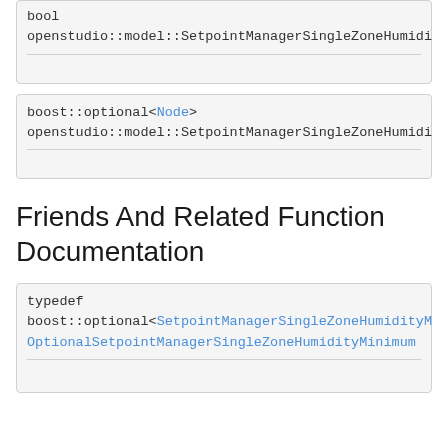bool openstudio::model::SetpointManagerSingleZoneHumidi...
boost::optional<Node> openstudio::model::SetpointManagerSingleZoneHumidi...
Friends And Related Function Documentation
typedef boost::optional<SetpointManagerSingleZoneHumidityM... OptionalSetpointManagerSingleZoneHumidityMinimum...